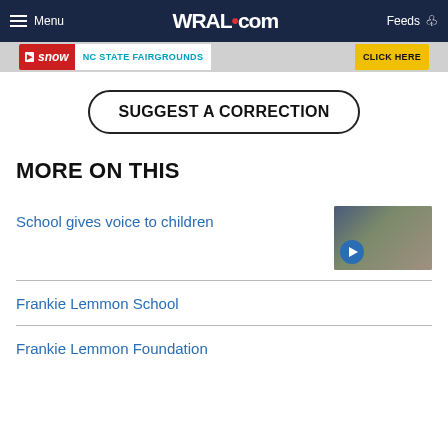Menu  WRAL.com  Feeds
[Figure (screenshot): Ad banner: snow NC STATE FAIRGROUNDS CLICK HERE]
SUGGEST A CORRECTION
MORE ON THIS
School gives voice to children
Frankie Lemmon School
Frankie Lemmon Foundation